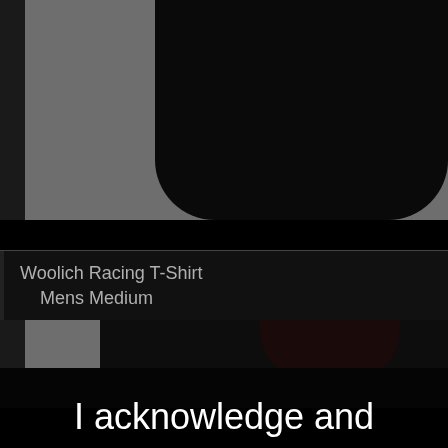[Figure (photo): Top portion of a dark/black t-shirt on a gray background, showing the shoulder and collar area from above]
Woolich Racing T-Shirt
    Mens Medium
[Figure (photo): Second dark/black t-shirt on a gray background showing collar and shoulder area, partially obscured by a red border overlay]
I acknowledge and